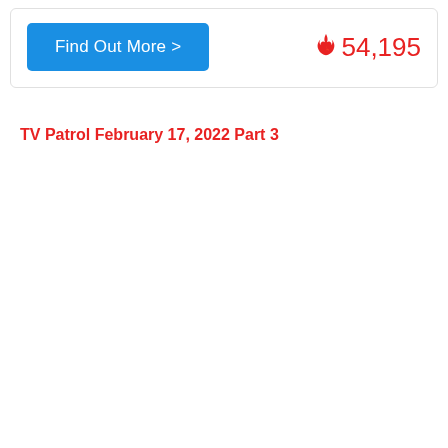Find Out More >
🔥 54,195
TV Patrol February 17, 2022 Part 3